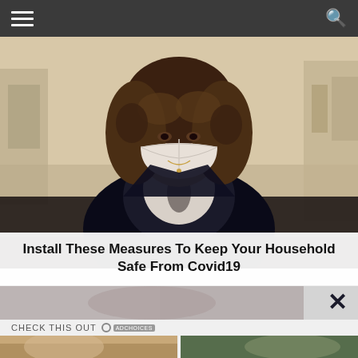navigation header with hamburger menu and search icon
[Figure (photo): Woman with curly hair wearing a white face mask, standing outdoors on a street, wearing a black jacket and white printed top. Urban background with trees and buildings.]
Install These Measures To Keep Your Household Safe From Covid19
[Figure (photo): Partial ad strip showing blurred image with close (X) button on the right]
CHECK THIS OUT
[Figure (photo): Woman in sunglasses at a beach, wearing a pink top, ocean in the background]
[Figure (photo): Young woman with curly hair standing near a car, touching her ear, wearing a black top, green leafy background]